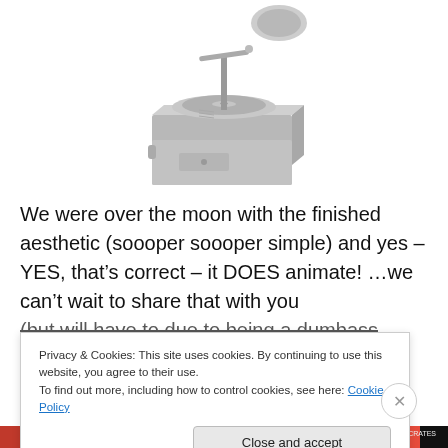[Figure (illustration): 3D rendered gramophone / record player in light gray color, viewed from a slight angle, showing turntable, arm, and wooden box base]
We were over the moon with the finished aesthetic (soooper soooper simple) and yes – YES, that's correct – it DOES animate! …we can't wait to share that with you (but will have to due to being a dumbass when it comes to
Privacy & Cookies: This site uses cookies. By continuing to use this website, you agree to their use.
To find out more, including how to control cookies, see here: Cookie Policy
Close and accept